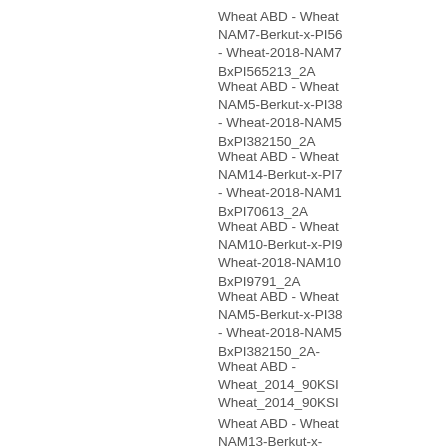Wheat ABD - Wheat NAM7-Berkut-x-PI56 - Wheat-2018-NAM7-BxPI565213_2A
Wheat ABD - Wheat NAM5-Berkut-x-PI38 - Wheat-2018-NAM5-BxPI382150_2A
Wheat ABD - Wheat NAM14-Berkut-x-PI7 - Wheat-2018-NAM14-BxPI70613_2A
Wheat ABD - Wheat NAM10-Berkut-x-PI9 Wheat-2018-NAM10-BxPI9791_2A
Wheat ABD - Wheat NAM5-Berkut-x-PI38 - Wheat-2018-NAM5-BxPI382150_2A-
Wheat ABD - Wheat_2014_90KSI Wheat_2014_90KSI
Wheat ABD - Wheat NAM13-Berkut-x-PI262611 - Wheat-2